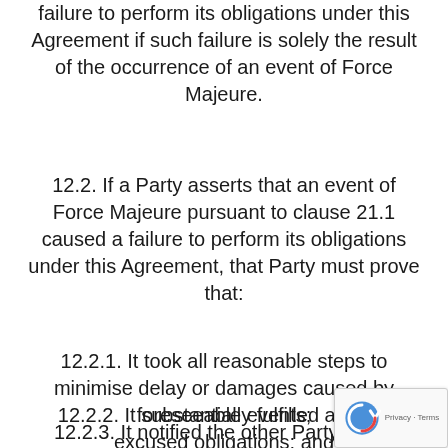failure to perform its obligations under this Agreement if such failure is solely the result of the occurrence of an event of Force Majeure.
12.2. If a Party asserts that an event of Force Majeure pursuant to clause 21.1 caused a failure to perform its obligations under this Agreement, that Party must prove that:
12.2.1. It took all reasonable steps to minimise delay or damages caused by foreseeable events;
12.2.2. It substantially fulfilled all non-excused obligations; and
12.2.3. It notified the other Party of the likelihood or actual